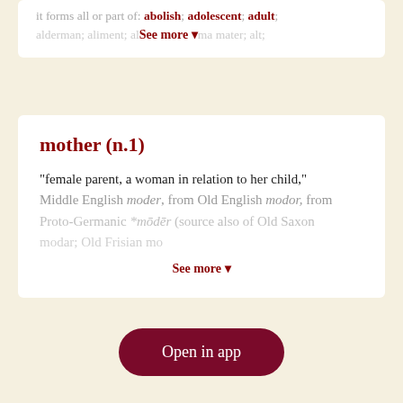it forms all or part of: abolish; adolescent; adult; alderman; aliment; See more ▼ alma mater; alt;
mother (n.1)
"female parent, a woman in relation to her child," Middle English moder, from Old English modor, from Proto-Germanic *mōdēr (source also of Old Saxon modar; Old Frisian mod... See more ▼
Advertisement
Open in app